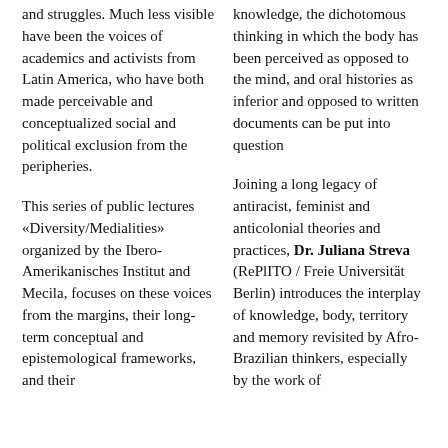and struggles. Much less visible have been the voices of academics and activists from Latin America, who have both made perceivable and conceptualized social and political exclusion from the peripheries.
This series of public lectures «Diversity/Medialities» organized by the Ibero-Amerikanisches Institut and Mecila, focuses on these voices from the margins, their long-term conceptual and epistemological frameworks, and their
knowledge, the dichotomous thinking in which the body has been perceived as opposed to the mind, and oral histories as inferior and opposed to written documents can be put into question
Joining a long legacy of antiracist, feminist and anticolonial theories and practices, Dr. Juliana Streva (RePlITO / Freie Universität Berlin) introduces the interplay of knowledge, body, territory and memory revisited by Afro-Brazilian thinkers, especially by the work of